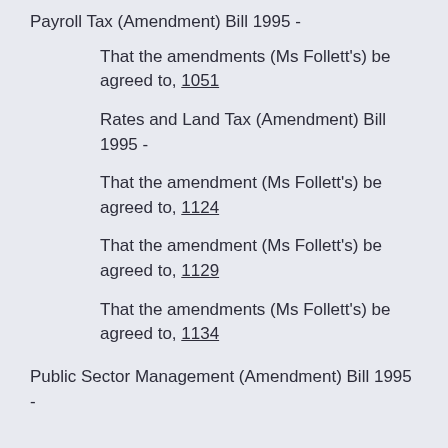Payroll Tax (Amendment) Bill 1995 -
That the amendments (Ms Follett's) be agreed to, 1051
Rates and Land Tax (Amendment) Bill 1995 -
That the amendment (Ms Follett's) be agreed to, 1124
That the amendment (Ms Follett's) be agreed to, 1129
That the amendments (Ms Follett's) be agreed to, 1134
Public Sector Management (Amendment) Bill 1995 -